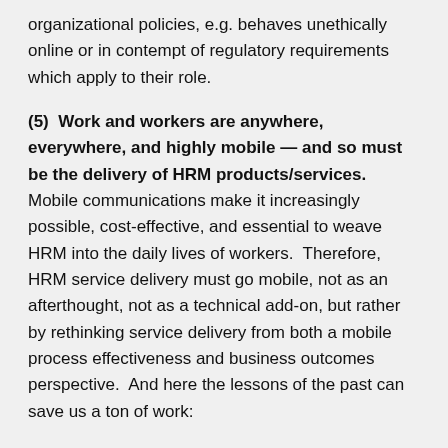organizational policies, e.g. behaves unethically online or in contempt of regulatory requirements which apply to their role.
(5)  Work and workers are anywhere, everywhere, and highly mobile — and so must be the delivery of HRM products/services.  Mobile communications make it increasingly possible, cost-effective, and essential to weave HRM into the daily lives of workers.  Therefore, HRM service delivery must go mobile, not as an afterthought, not as a technical add-on, but rather by rethinking service delivery from both a mobile process effectiveness and business outcomes perspective.  And here the lessons of the past can save us a ton of work:
Do you remember when we debated should we or shouldn't we do self service?
Then we debated to whom should we extend